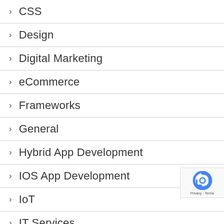CSS
Design
Digital Marketing
eCommerce
Frameworks
General
Hybrid App Development
IOS App Development
IoT
IT Services